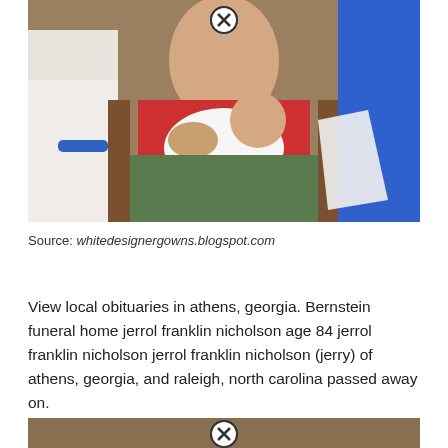[Figure (photo): A woman in a red shirt holding a newborn baby wrapped in white cloth, seated in a green chair. Other people are partially visible on either side.]
Source: whitedesignergowns.blogspot.com
View local obituaries in athens, georgia. Bernstein funeral home jerrol franklin nicholson age 84 jerrol franklin nicholson jerrol franklin nicholson (jerry) of athens, georgia, and raleigh, north carolina passed away on.
[Figure (photo): Partial view of another photo at the bottom of the page, partially cut off.]